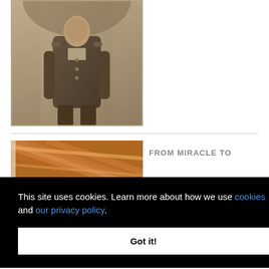[Figure (photo): Sepia-toned vintage photograph of a person in military uniform standing in front of a building with columns]
[Figure (photo): Partial color photo showing wooden slats or blinds with warm orange/brown tones]
FROM MIRACLE TO
This site uses cookies. Learn more about how we use cookies and our privacy policy.
Got it!